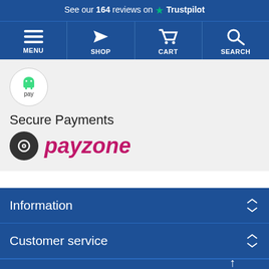See our 164 reviews on Trustpilot
[Figure (screenshot): Navigation bar with MENU, SHOP, CART, SEARCH icons on blue background]
[Figure (logo): Android Pay circular logo]
Secure Payments
[Figure (logo): Payzone payment logo with circular icon]
Information
Customer service
Click Here
For Free Advice
From Experts